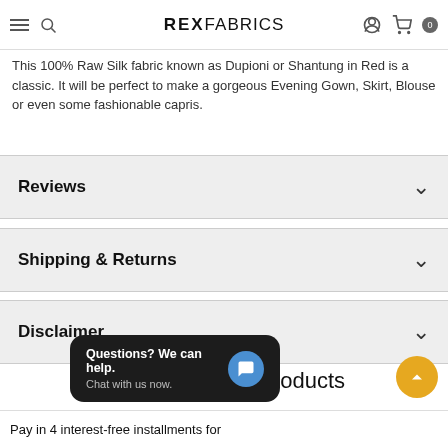REX FABRICS
This 100% Raw Silk fabric known as Dupioni or Shantung in Red is a classic. It will be perfect to make a gorgeous Evening Gown, Skirt, Blouse or even some fashionable capris.
Reviews
Shipping & Returns
Disclaimer
Recommended Products
Questions? We can help. Chat with us now.
Pay in 4 interest-free installments for